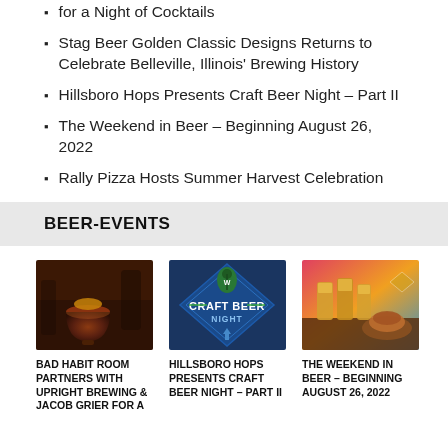for a Night of Cocktails
Stag Beer Golden Classic Designs Returns to Celebrate Belleville, Illinois' Brewing History
Hillsboro Hops Presents Craft Beer Night – Part II
The Weekend in Beer – Beginning August 26, 2022
Rally Pizza Hosts Summer Harvest Celebration
BEER-EVENTS
[Figure (photo): A cocktail glass with dark red liquid and garnish on a bar]
[Figure (logo): Craft Beer Night logo — diamond shape with hop graphic and text CRAFT BEER NIGHT on navy blue background]
[Figure (photo): Glasses of beer and food on a table with colorful background]
BAD HABIT ROOM PARTNERS WITH UPRIGHT BREWING & JACOB GRIER FOR A
HILLSBORO HOPS PRESENTS CRAFT BEER NIGHT – PART II
THE WEEKEND IN BEER – BEGINNING AUGUST 26, 2022